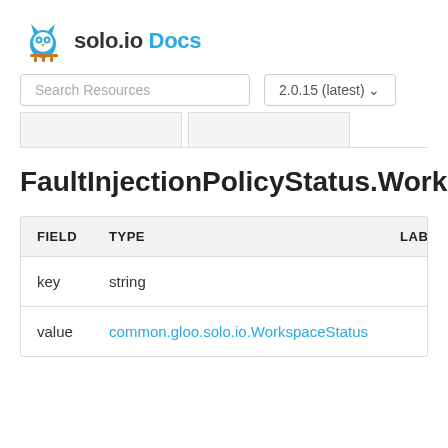solo.io Docs
[Figure (screenshot): Search Resources input box and version selector showing '2.0.15 (latest)' dropdown, with two navigation tab placeholders below]
FaultInjectionPolicyStatus.WorkspacesEr
| FIELD | TYPE | LABEL |
| --- | --- | --- |
| key | string |  |
| value | common.gloo.solo.io.WorkspaceStatus |  |